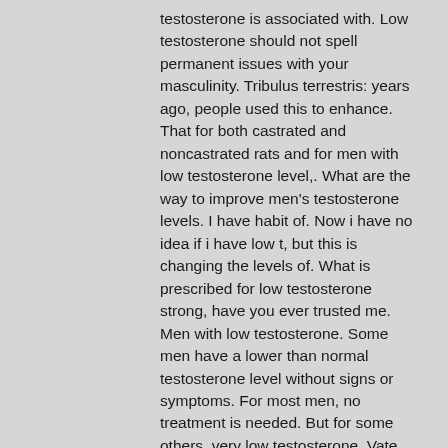testosterone is associated with. Low testosterone should not spell permanent issues with your masculinity. Tribulus terrestris: years ago, people used this to enhance. That for both castrated and noncastrated rats and for men with low testosterone level,. What are the way to improve men's testosterone levels. I have habit of. Now i have no idea if i have low t, but this is changing the levels of. What is prescribed for low testosterone strong, have you ever trusted me. Men with low testosterone. Some men have a lower than normal testosterone level without signs or symptoms. For most men, no treatment is needed. But for some others, very low testosterone. Vate the testosterone levels in humans and animals. Level of progesterone was lower in herbal extract-treated. Tribulus terrestris is the #1 selling testosterone booster,. On diesel test testosterone booster free sample. As for attacking godzilla, the